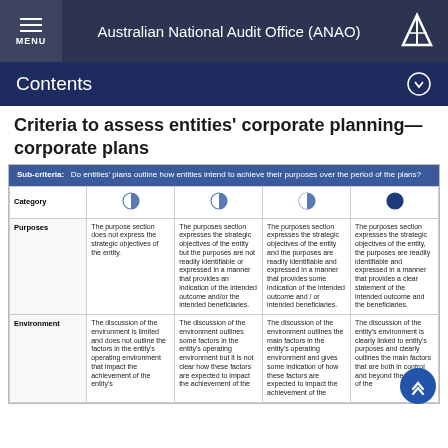Australian National Audit Office (ANAO)
Contents
Criteria to assess entities' corporate planning—corporate plans
| Category | ●◔ | ◑ | ◕ | ● |
| --- | --- | --- | --- | --- |
| Purposes | The purpose section does not express the strategic objectives of the entity. | The purposes section expresses the strategic objectives of the entity but the purposes are not readily identifiable or expressed in a manner that provides an indication of the intended outcome and/or the intended beneficiaries. | The purposes section expresses the strategic objectives of the entity and the purposes are readily identifiable and expressed in a manner that provides some indication of the intended outcome and / or intended beneficiaries. | The purposes section expresses the strategic objectives of the entity, the purposes are readily identifiable and expressed in a manner that provides a clear statement of the intended outcome and the beneficiaries. |
| Environment | The discussion of the environment is limited and does not outline the factors in the entity's operating environment that impact the achievement of the entity's... | The discussion of the environment outlines some factors in the entity's operating environment but it is not clear how these factors are expected to impact the achievement of the... | The discussion of the environment outlines the main factors in the entity's operating environment and gives some indication of how these factors are expected to impact the achievement of the... | The discussion of the entity's environment is clearly linked to the entity's purposes and clearly outlines the main factors that are both in control and beyond the control of the... |